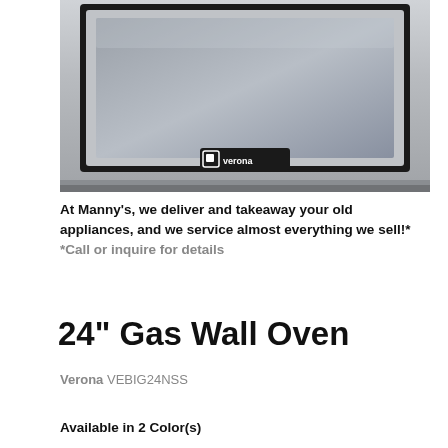[Figure (photo): Close-up photo of a Verona 24-inch stainless steel gas wall oven front panel showing the oven window with black frame and the Verona brand logo badge on the lower center of the door.]
At Manny's, we deliver and takeaway your old appliances, and we service almost everything we sell!*
*Call or inquire for details
24" Gas Wall Oven
Verona VEBIG24NSS
Available in 2 Color(s)